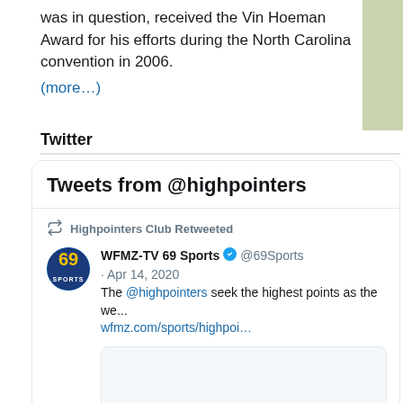was in question, received the Vin Hoeman Award for his efforts during the North Carolina convention in 2006.
(more…)
Twitter
[Figure (screenshot): Twitter widget showing Tweets from @highpointers. Contains a retweet by Highpointers Club of a WFMZ-TV 69 Sports tweet from Apr 14, 2020, with text: The @highpointers seek the highest points as the we... wfmz.com/sports/highpoi…]